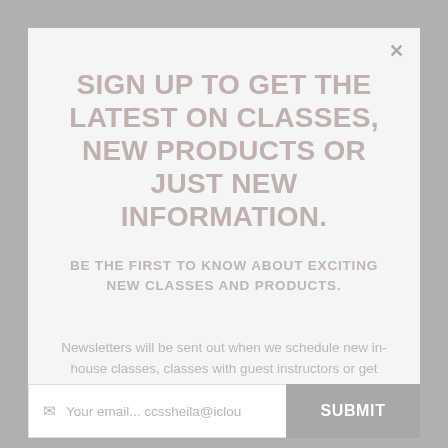SIGN UP TO GET THE LATEST ON CLASSES, NEW PRODUCTS OR JUST NEW INFORMATION.
BE THE FIRST TO KNOW ABOUT EXCITING NEW CLASSES AND PRODUCTS.
Newsletters will be sent out when we schedule new in-house classes, classes with guest instructors or get new and exciting products in to sell.
Your email... ccssheila@icloud...
SUBMIT